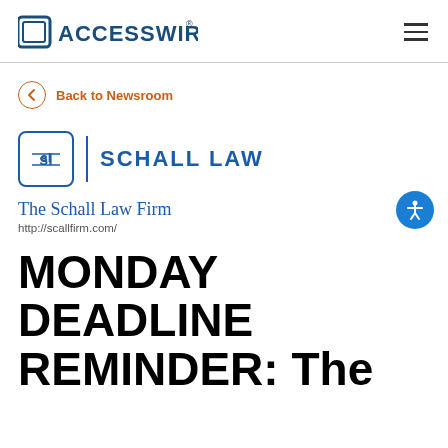ACCESSWIRE®
Back to Newsroom
[Figure (logo): Schall Law firm logo with stylized 'sl' in a rounded square and text 'SCHALL LAW']
The Schall Law Firm
http://scallfirm.com/
MONDAY DEADLINE REMINDER: The